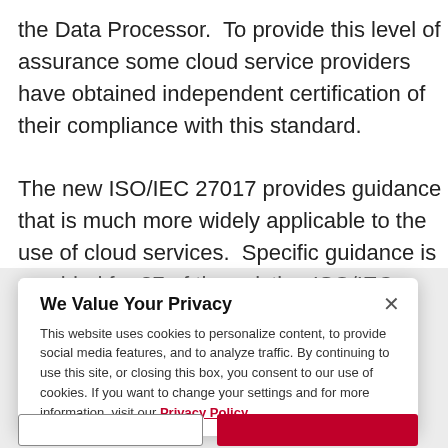the Data Processor. To provide this level of assurance some cloud service providers have obtained independent certification of their compliance with this standard.

The new ISO/IEC 27017 provides guidance that is much more widely applicable to the use of cloud services. Specific guidance is provided for 37 of the existing ISO/IEC 27002 controls:
We Value Your Privacy
This website uses cookies to personalize content, to provide social media features, and to analyze traffic. By continuing to use this site, or closing this box, you consent to our use of cookies. If you want to change your settings and for more information, visit our Privacy Policy